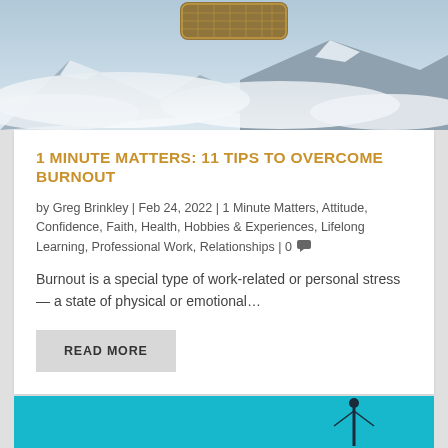[Figure (photo): Aerial view of skis or snowshoes above snowy mountain landscape with clouds]
1 MINUTE MATTERS: 11 TIPS TO OVERCOME BURNOUT
by Greg Brinkley | Feb 24, 2022 | 1 Minute Matters, Attitude, Confidence, Faith, Health, Hobbies & Experiences, Lifelong Learning, Professional Work, Relationships | 0
Burnout is a special type of work-related or personal stress— a state of physical or emotional…
READ MORE
[Figure (photo): Partial view of a bright cyan/turquoise background with a dark silhouette figure]